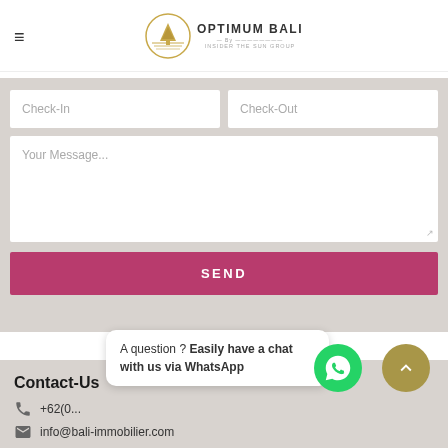[Figure (logo): Optimum Bali logo with golden tree/circle icon and text 'OPTIMUM BALI by Insider The Sun Group']
[Figure (screenshot): Contact/booking form with Check-In and Check-Out input fields, a Your Message textarea, and a SEND button on a light grey background]
Contact-Us
+62(0...
info@bali-immobilier.com
A question ? Easily have a chat with us via WhatsApp